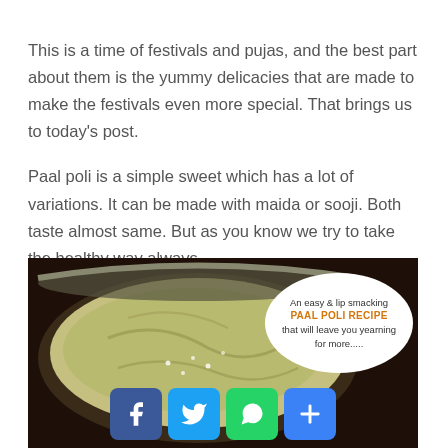This is a time of festivals and pujas, and the best part about them is the yummy delicacies that are made to make the festivals even more special. That brings us to today's post.
Paal poli is a simple sweet which has a lot of variations. It can be made with maida or sooji. Both taste almost same. But as you know we try to take the healthy way always.
[Figure (photo): Photo of paal poli (sweet flatbread) in a bowl on a dark background, with an oval text bubble reading 'An easy & lip smacking PAAL POLI RECIPE that will leave you yearning for more.....' and social media share buttons (Facebook, Twitter, WhatsApp, More) at the bottom.]